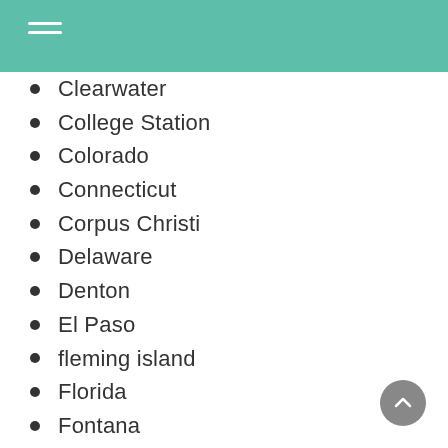Clearwater
College Station
Colorado
Connecticut
Corpus Christi
Delaware
Denton
El Paso
fleming island
Florida
Fontana
Fort Lauderdale
Fort Worth
Fremont
Fresno
Frisco
Garland